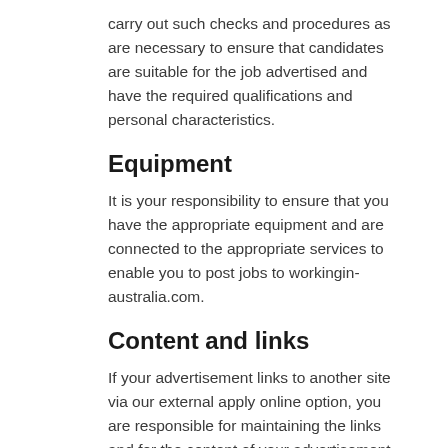carry out such checks and procedures as are necessary to ensure that candidates are suitable for the job advertised and have the required qualifications and personal characteristics.
Equipment
It is your responsibility to ensure that you have the appropriate equipment and are connected to the appropriate services to enable you to post jobs to workingin-australia.com.
Content and links
If your advertisement links to another site via our external apply online option, you are responsible for maintaining the links and for the content of your advertisement and the linked site. We may remove from workingin-australia.com any advertisement which contains content or links to a site which, in our opinion, is defamatory, illegal or objectionable or will bring